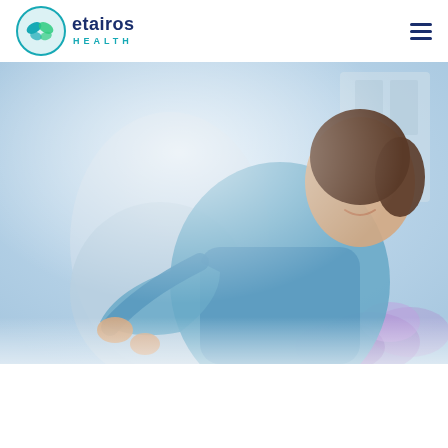[Figure (logo): Etairos Health logo — circular teal icon with leaf/butterfly motif and 'etairos HEALTH' text in navy and teal]
[Figure (photo): A smiling nurse or healthcare worker in blue scrubs embracing/hugging a patient, photographed from above/side angle. Background shows a blurred window and purple flowers.]